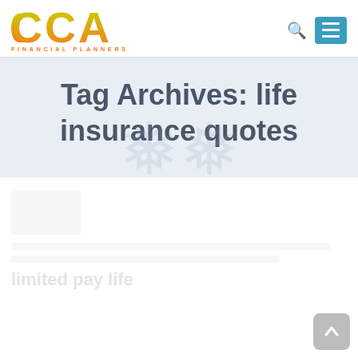[Figure (logo): CCA Financial Planners logo with orange and green letters and orange tagline text]
Tag Archives: life insurance quotes
[Figure (illustration): Faded decorative snowflake/asterisk watermark in tag archive banner]
[Figure (illustration): Faded article thumbnail and faded article title and text lines in content area below banner]
[Figure (other): Back to top button with upward arrow, grey rounded rectangle, bottom right]